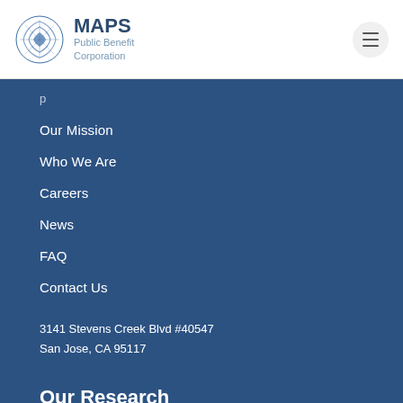MAPS Public Benefit Corporation
Our Mission
Who We Are
Careers
News
FAQ
Contact Us
3141 Stevens Creek Blvd #40547
San Jose, CA 95117
Our Research
MDMA for PTSD
Expanded Access Program